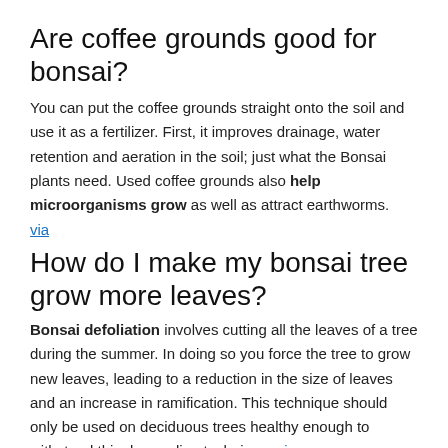Are coffee grounds good for bonsai?
You can put the coffee grounds straight onto the soil and use it as a fertilizer. First, it improves drainage, water retention and aeration in the soil; just what the Bonsai plants need. Used coffee grounds also help microorganisms grow as well as attract earthworms. via
How do I make my bonsai tree grow more leaves?
Bonsai defoliation involves cutting all the leaves of a tree during the summer. In doing so you force the tree to grow new leaves, leading to a reduction in the size of leaves and an increase in ramification. This technique should only be used on deciduous trees healthy enough to withstand this demanding technique. via